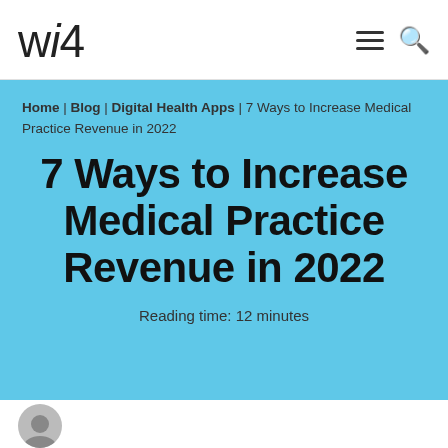wi4
Home | Blog | Digital Health Apps | 7 Ways to Increase Medical Practice Revenue in 2022
7 Ways to Increase Medical Practice Revenue in 2022
Reading time: 12 minutes
[Figure (illustration): Partial avatar/person icon circle at bottom left]